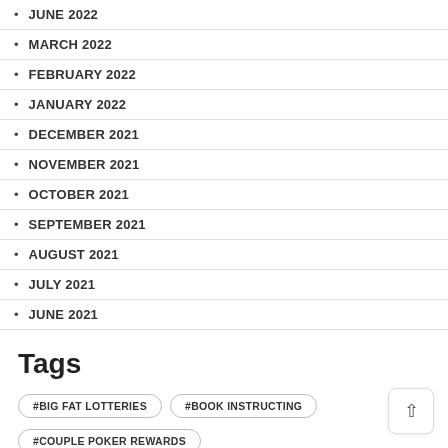JUNE 2022
MARCH 2022
FEBRUARY 2022
JANUARY 2022
DECEMBER 2021
NOVEMBER 2021
OCTOBER 2021
SEPTEMBER 2021
AUGUST 2021
JULY 2021
JUNE 2021
Tags
#BIG FAT LOTTERIES
#BOOK INSTRUCTING
#COUPLE POKER REWARDS
#FUN FAMILY CARD GAMES
#COMPLETE AND PRINT AT MEETING